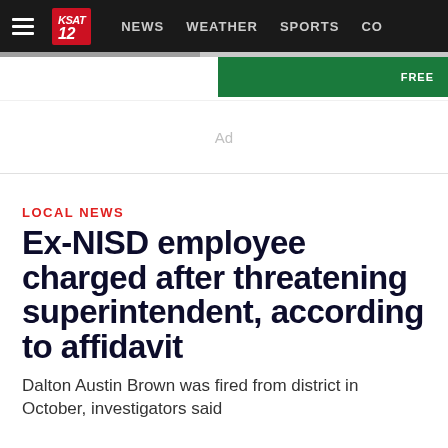NEWS  WEATHER  SPORTS  CO
[Figure (screenshot): Ad placeholder area with gray progress bar and green bar]
Ad
LOCAL NEWS
Ex-NISD employee charged after threatening superintendent, according to affidavit
Dalton Austin Brown was fired from district in October, investigators said